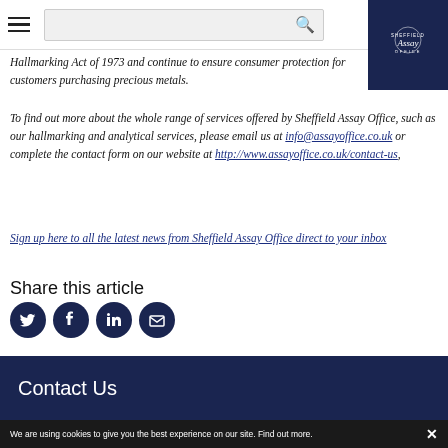Sheffield Assay Office website header with hamburger menu, search bar, and logo
Hallmarking Act of 1973 and continue to ensure consumer protection for customers purchasing precious metals.
To find out more about the whole range of services offered by Sheffield Assay Office, such as our hallmarking and analytical services, please email us at info@assayoffice.co.uk or complete the contact form on our website at http://www.assayoffice.co.uk/contact-us,
Sign up here to all the latest news from Sheffield Assay Office direct to your inbox
Share this article
[Figure (infographic): Social media share icons: Twitter, Facebook, LinkedIn, Email — dark navy circular buttons]
« Back to all news
Contact Us
We are using cookies to give you the best experience on our site. Find out more.